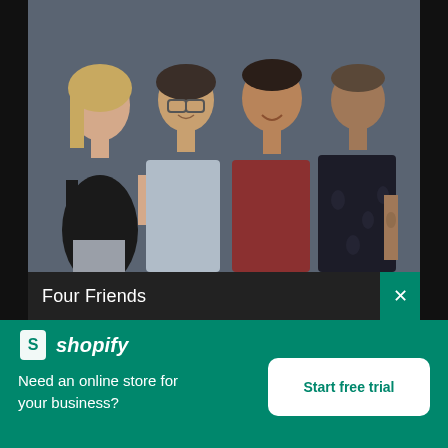[Figure (photo): Four people standing together posing for a photo against a dark gray background. From left to right: a woman with blonde hair wearing a black top and gray trousers; a person with glasses wearing a light gray button-up shirt; a person wearing a dark red/maroon button-up shirt; a person with short dark hair wearing a dark floral shirt with tattoos visible on their arm.]
Four Friends
[Figure (logo): Shopify logo: white shopping bag icon with 'S' followed by italic bold text 'shopify' in white]
Need an online store for your business?
Start free trial